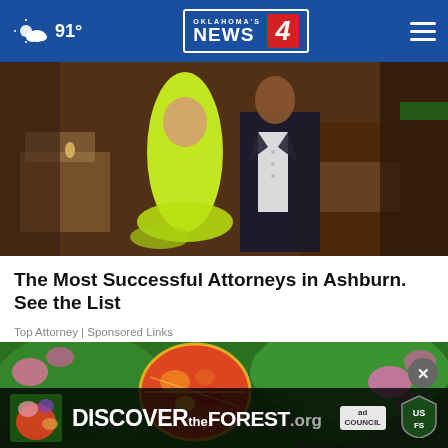91° | Oklahoma's News 4
[Figure (photo): Two people at a formal event; woman in neon yellow/green strapless dress, man in dark suit with white shirt, restaurant/banquet hall setting in background]
The Most Successful Attorneys in Ashburn. See the List
Top Attorney | Sponsored Links
[Figure (photo): Colorful decorated pumpkin or egg with floral designs, surrounded by bright flowers and green foliage]
[Figure (infographic): Ad banner: DISCOVERtheFOREST.org with Ad Council and US Forest Service logos, dark semi-transparent overlay with close button]